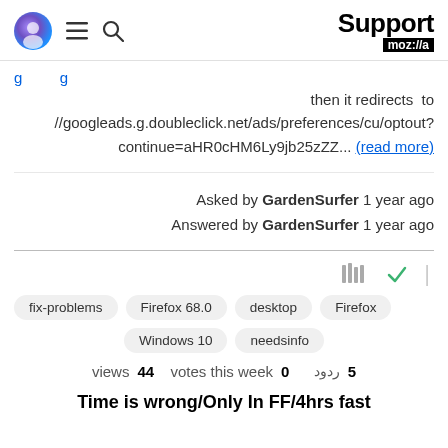Support moz://a
then it redirects to //googleads.g.doubleclick.net/ads/preferences/cu/optout?continue=aHR0cHM6Ly9jb25zZZ... (read more)
Asked by GardenSurfer 1 year ago
Answered by GardenSurfer 1 year ago
fix-problems  Firefox 68.0  desktop  Firefox  Windows 10  needsinfo
views 44  votes this week 0  ردود 5
Time is wrong/Only In FF/4hrs fast